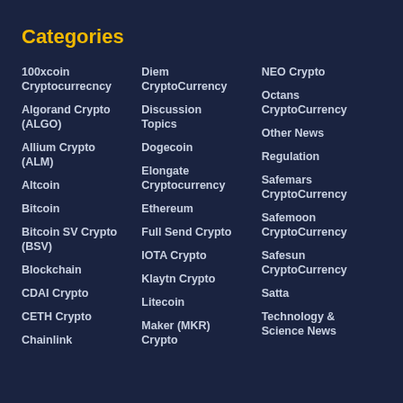Categories
100xcoin Cryptocurrecncy
Algorand Crypto (ALGO)
Allium Crypto (ALM)
Altcoin
Bitcoin
Bitcoin SV Crypto (BSV)
Blockchain
CDAI Crypto
CETH Crypto
Chainlink
Diem CryptoCurrency
Discussion Topics
Dogecoin
Elongate Cryptocurrency
Ethereum
Full Send Crypto
IOTA Crypto
Klaytn Crypto
Litecoin
Maker (MKR) Crypto
NEO Crypto
Octans CryptoCurrency
Other News
Regulation
Safemars CryptoCurrency
Safemoon CryptoCurrency
Safesun CryptoCurrency
Satta
Technology & Science News